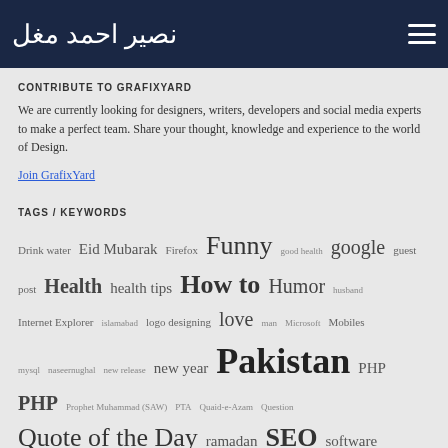نصیر احمد مغل (logo) — menu icon
CONTRIBUTE TO GRAFIXYARD
We are currently looking for designers, writers, developers and social media experts to make a perfect team. Share your thought, knowledge and experience to the world of Design.
Join GrafixYard
TAGS / KEYWORDS
Drink water Eid Mubarak Firefox Funny good health google guest post Health health tips How to Humor husband Internet Explorer islamabad logo designing love man Microsoft Mobiles mysql naseernughal new release new year Pakistan PHP PHP Prophet Muhammad (SAW) PTA Quaid-e-Azam Question Quote of the Day ramadan SEO software Three-Pointed Tips Tips & Tricks